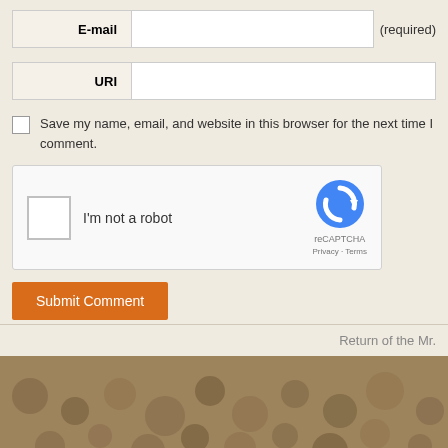E-mail (required)
URI
Save my name, email, and website in this browser for the next time I comment.
[Figure (other): reCAPTCHA widget with checkbox labeled I'm not a robot, reCAPTCHA logo, Privacy and Terms links]
Submit Comment
Return of the Mr.
[Figure (photo): Close-up photo of sandy/rocky textured surface with rounded pebbles, copyright notice (C)]